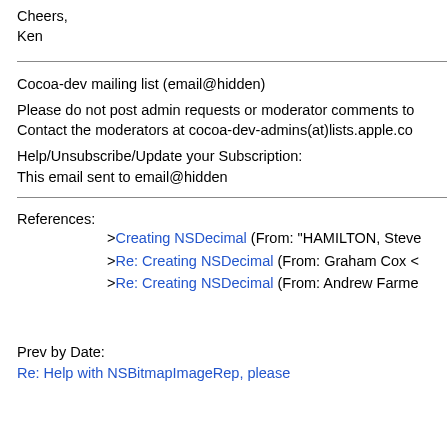Cheers,
Ken
Cocoa-dev mailing list (email@hidden)
Please do not post admin requests or moderator comments to the list.
Contact the moderators at cocoa-dev-admins(at)lists.apple.com
Help/Unsubscribe/Update your Subscription:
This email sent to email@hidden
References:
>Creating NSDecimal (From: "HAMILTON, Steve...")
>Re: Creating NSDecimal (From: Graham Cox <...)
>Re: Creating NSDecimal (From: Andrew Farme...)
Prev by Date:
Re: Help with NSBitmapImageRep, please